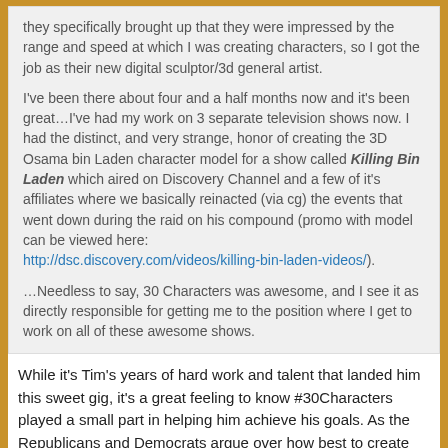they specifically brought up that they were impressed by the range and speed at which I was creating characters, so I got the job as their new digital sculptor/3d general artist.

I've been there about four and a half months now and it's been great…I've had my work on 3 separate television shows now. I had the distinct, and very strange, honor of creating the 3D Osama bin Laden character model for a show called Killing Bin Laden which aired on Discovery Channel and a few of it's affiliates where we basically reinacted (via cg) the events that went down during the raid on his compound (promo with model can be viewed here: http://dsc.discovery.com/videos/killing-bin-laden-videos/).

…Needless to say, 30 Characters was awesome, and I see it as directly responsible for getting me to the position where I get to work on all of these awesome shows.
While it's Tim's years of hard work and talent that landed him this sweet gig, it's a great feeling to know #30Characters played a small part in helping him achieve his goals. As the Republicans and Democrats argue over how best to create jobs, I think the answer is now clear: Support the #30Characters Challenge!
Inspiration